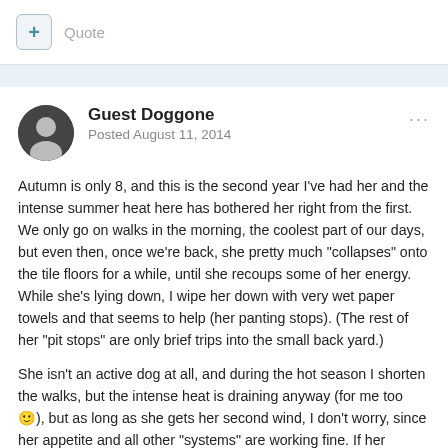Quote
Guest Doggone
Posted August 11, 2014
Autumn is only 8, and this is the second year I've had her and the intense summer heat here has bothered her right from the first. We only go on walks in the morning, the coolest part of our days, but even then, once we're back, she pretty much "collapses" onto the tile floors for a while, until she recoups some of her energy. While she's lying down, I wipe her down with very wet paper towels and that seems to help (her panting stops). (The rest of her "pit stops" are only brief trips into the small back yard.)
She isn't an active dog at all, and during the hot season I shorten the walks, but the intense heat is draining anyway (for me too 🙂), but as long as she gets her second wind, I don't worry, since her appetite and all other "systems" are working fine. If her sensitivity to heat gets worse with age, I'll shorten the walks even more, but I won't cut them out since she seems to love